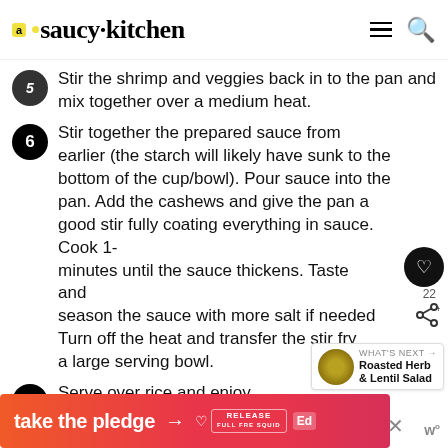saucy kitchen
5 Stir the shrimp and veggies back in to the pan and mix together over a medium heat.
6 Stir together the prepared sauce from earlier (the starch will likely have sunk to the bottom of the cup/bowl). Pour sauce into the pan. Add the cashews and give the pan a good stir fully coating everything in sauce. Cook 1-2 minutes until the sauce thickens. Taste and season the sauce with more salt if needed. Turn off the heat and transfer the stir fry into a large serving bowl.
7 Serve over rice and enjoy.
[Figure (other): Ad banner: take the pledge arrow RELEASE logo]
22
[Figure (other): What's Next thumbnail: Roasted Herb & Lentil Salad]